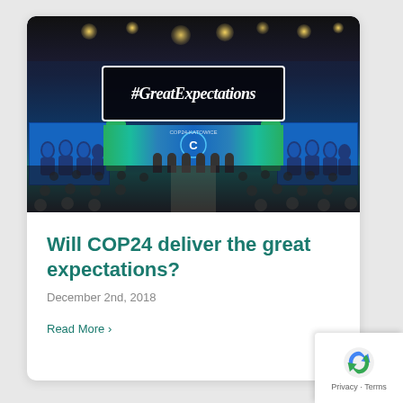[Figure (photo): Large conference hall for COP24 climate conference in Katowice, Poland. The image shows a packed auditorium with delegates at tables, a large stage with speakers and a blue backdrop featuring the COP24/KATOWICE 2018 logo and UNFCCC circular logo. Large side screens show panelists. A prominent black banner with white border displays the hashtag #GreatExpectations in cursive script. Overhead stage lighting illuminates the scene.]
Will COP24 deliver the great expectations?
December 2nd, 2018
Read More ›